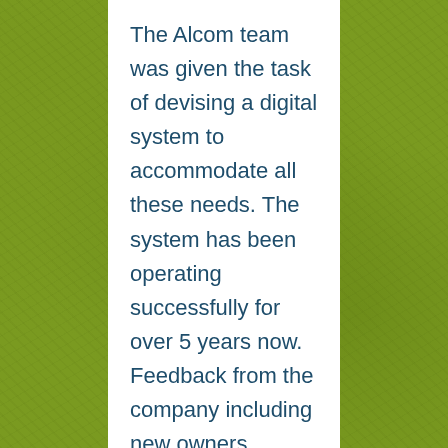The Alcom team was given the task of devising a digital system to accommodate all these needs. The system has been operating successfully for over 5 years now. Feedback from the company including new owners, drivers and dispatchers has also been extremely positive. In particular they are impressed with the quality of the sound, the coverage and also the “push to talk” instant communication the